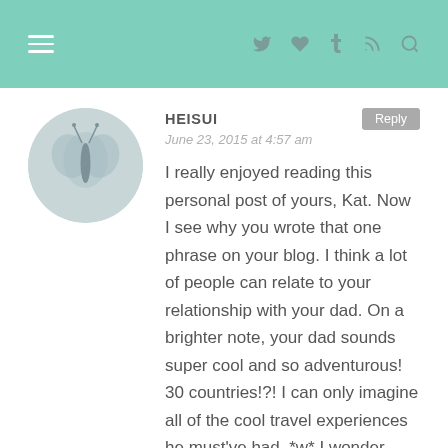Navigation header with hamburger menu and social icons (Twitter, heart, Tumblr, RSS, Search)
HEISUI
June 23, 2015 at 4:57 am
I really enjoyed reading this personal post of yours, Kat. Now I see why you wrote that one phrase on your blog. I think a lot of people can relate to your relationship with your dad. On a brighter note, your dad sounds super cool and so adventurous! 30 countries!?! I can only imagine all of the cool travel experiences he must've had. *w* I wonder how many languages he spoke? Did he pick up any new languages during his work experience?